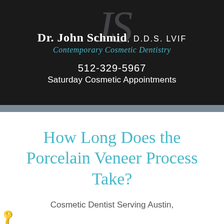[Figure (logo): Dr. John Schmid D.D.S. LVIF Contemporary Cosmetic Dentistry logo with JS monogram on dark background, phone number 512-329-5967 and Saturday Cosmetic Appointments text]
How Long Does the Porcelain Veneer Process Take?
Cosmetic Dentist Serving Austin,